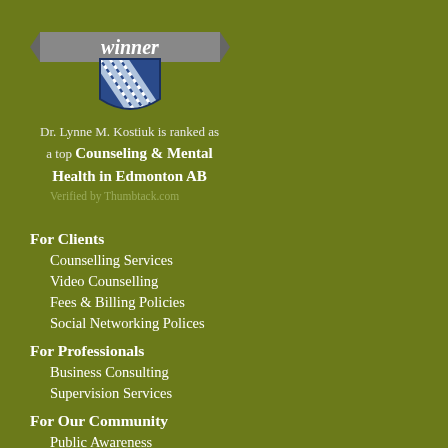[Figure (logo): Award badge with ribbon saying 'winner' and a blue shield with diagonal stripes, for top Counseling provider]
Dr. Lynne M. Kostiuk is ranked as a top Counseling & Mental Health in Edmonton AB
Verified by Thumbtack.com
For Clients
Counselling Services
Video Counselling
Fees & Billing Policies
Social Networking Polices
For Professionals
Business Consulting
Supervision Services
For Our Community
Public Awareness
Community Initiative: Aspiring Healthy & Whole Communities